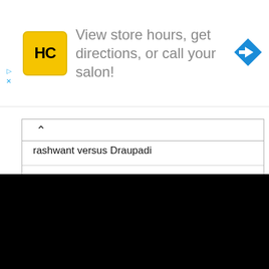[Figure (screenshot): Advertisement banner for a salon chain with yellow HC logo, text 'View store hours, get directions, or call your salon!', and a blue navigation arrow icon on the right.]
rashwant versus Draupadi
Mamata Upstages Sonia
Nupur and Naveen
Vijay Singla Arrest